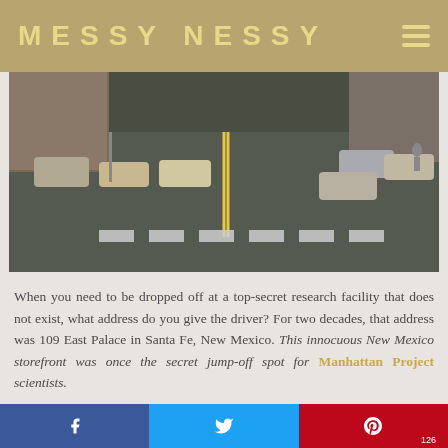MESSY NESSY
[Figure (photo): Aerial/overhead view of a street intersection in Santa Fe, New Mexico, showing cars parked along both sides and a pedestrian crosswalk.]
When you need to be dropped off at a top-secret research facility that does not exist, what address do you give the driver? For two decades, that address was 109 East Palace in Santa Fe, New Mexico. This innocuous New Mexico storefront was once the secret jump-off spot for Manhattan Project scientists.
Found on Atlas Obscura. Further reading on America's Secret Atomic City here.
Share buttons: Facebook, Twitter, Pinterest (126)